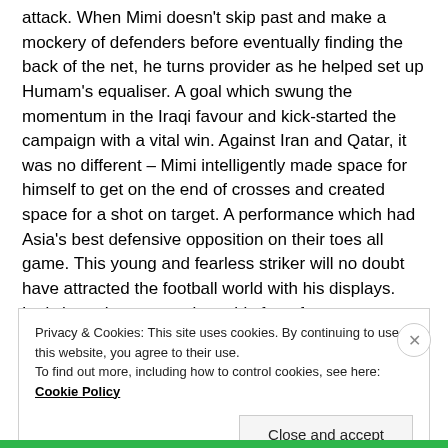attack. When Mimi doesn't skip past and make a mockery of defenders before eventually finding the back of the net, he turns provider as he helped set up Humam's equaliser. A goal which swung the momentum in the Iraqi favour and kick-started the campaign with a vital win. Against Iran and Qatar, it was no different – Mimi intelligently made space for himself to get on the end of crosses and created space for a shot on target. A performance which had Asia's best defensive opposition on their toes all game. This young and fearless striker will no doubt have attracted the football world with his displays. Let's hope he can continue this form for many years. 9/10
Privacy & Cookies: This site uses cookies. By continuing to use this website, you agree to their use. To find out more, including how to control cookies, see here: Cookie Policy
Close and accept